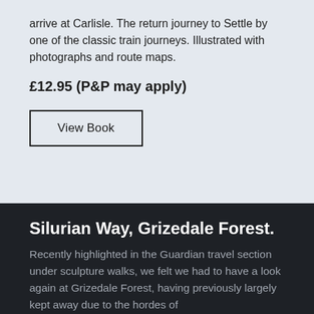arrive at Carlisle. The return journey to Settle by one of the classic train journeys. Illustrated with photographs and route maps.
£12.95 (P&P may apply)
View Book
Silurian Way, Grizedale Forest.
Recently highlighted in the Guardian travel section under sculpture walks, we felt we had to have a look again at Grizedale Forest, having previously largely kept away due to the hordes of